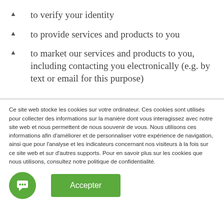to verify your identity
to provide services and products to you
to market our services and products to you, including contacting you electronically (e.g. by text or email for this purpose)
Ce site web stocke les cookies sur votre ordinateur. Ces cookies sont utilisés pour collecter des informations sur la manière dont vous interagissez avec notre site web et nous permettent de nous souvenir de vous. Nous utilisons ces informations afin d'améliorer et de personnaliser votre expérience de navigation, ainsi que pour l'analyse et les indicateurs concernant nos visiteurs à la fois sur ce site web et sur d'autres supports. Pour en savoir plus sur les cookies que nous utilisons, consultez notre politique de confidentialité.